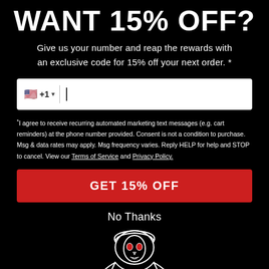WANT 15% OFF?
Give us your number and reap the rewards with an exclusive code for 15% off your next order. *
[Figure (other): Phone number input field with US flag, +1 country code, dropdown arrow, and text cursor]
*I agree to receive recurring automated marketing text messages (e.g. cart reminders) at the phone number provided. Consent is not a condition to purchase. Msg & data rates may apply. Msg frequency varies. Reply HELP for help and STOP to cancel. View our Terms of Service and Privacy Policy.
GET 15% OFF
No Thanks
[Figure (illustration): Line art illustration of a grim reaper skeleton wearing a hood, holding what appears to be a camera or equipment, drawn in white outline on black background]